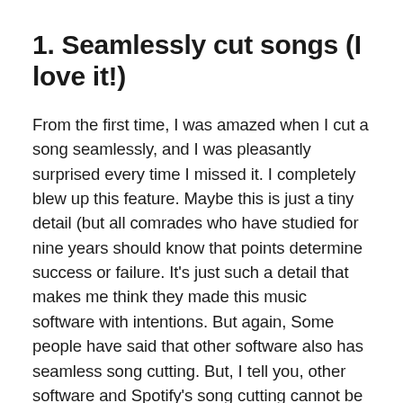1. Seamlessly cut songs (I love it!)
From the first time, I was amazed when I cut a song seamlessly, and I was pleasantly surprised every time I missed it. I completely blew up this feature. Maybe this is just a tiny detail (but all comrades who have studied for nine years should know that points determine success or failure. It's just such a detail that makes me think they made this music software with intentions. But again, Some people have said that other software also has seamless song cutting. But, I tell you, other software and Spotify's song cutting cannot be generalized.